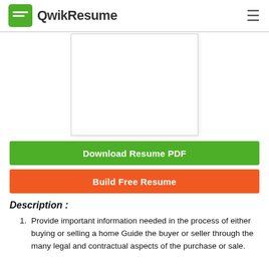QwikResume
[Figure (other): Blank resume preview document thumbnail]
Download Resume PDF
Build Free Resume
Description :
Provide important information needed in the process of either buying or selling a home Guide the buyer or seller through the many legal and contractual aspects of the purchase or sale.